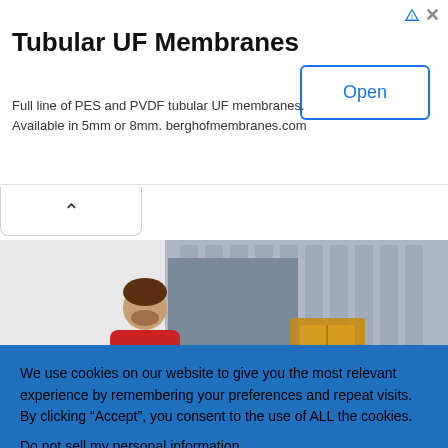Tubular UF Membranes
Full line of PES and PVDF tubular UF membranes. Available in 5mm or 8mm. berghofmembranes.com
[Figure (illustration): Illustration of two workers in red uniforms with boxes in a warehouse/loading dock setting]
We use cookies on our website to give you the most relevant experience by remembering your preferences and repeat visits. By clicking “Accept”, you consent to the use of ALL the cookies.
Do not sell my personal information.
Cookie Settings
Accept